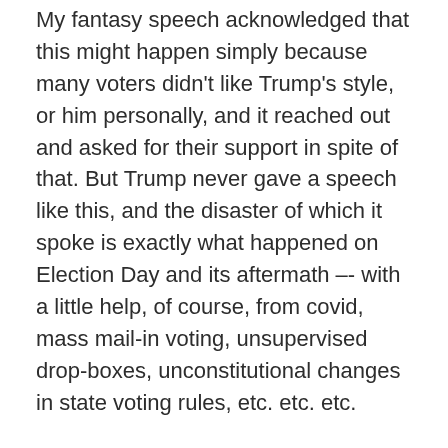My fantasy speech acknowledged that this might happen simply because many voters didn't like Trump's style, or him personally, and it reached out and asked for their support in spite of that. But Trump never gave a speech like this, and the disaster of which it spoke is exactly what happened on Election Day and its aftermath –- with a little help, of course, from covid, mass mail-in voting, unsupervised drop-boxes, unconstitutional changes in state voting rules, etc. etc. etc.
I'm wondering if this time, candidate Trump, knowing what's at stake for our